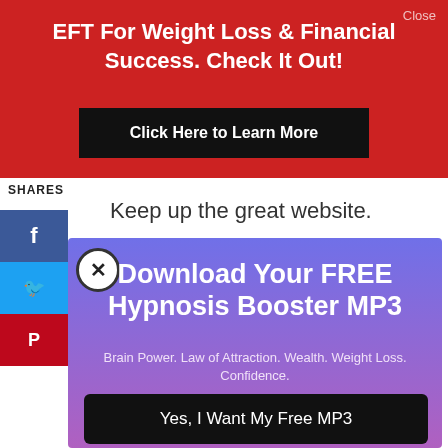Close
EFT For Weight Loss & Financial Success. Check It Out!
Click Here to Learn More
SHARES
Keep up the great website.
[Figure (infographic): Social share sidebar with Facebook, Twitter, Pinterest icons]
Download Your FREE Hypnosis Booster MP3
Brain Power. Law of Attraction. Wealth. Weight Loss. Confidence.
Yes, I Want My Free MP3